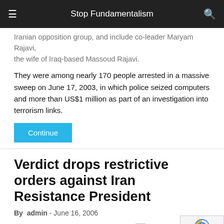Stop Fundamentalism
Iranian opposition group, and include co-leader Maryam Rajavi, the wife of Iraq-based Massoud Rajavi.
They were among nearly 170 people arrested in a massive sweep on June 17, 2003, in which police seized computers and more than US$1 million as part of an investigation into terrorism links.
Continue
Verdict drops restrictive orders against Iran Resistance President
By admin - June 16, 2006
Stop Fundamentalism, June 16, 2006
Maryam Rajavi
The National Council of Resist...